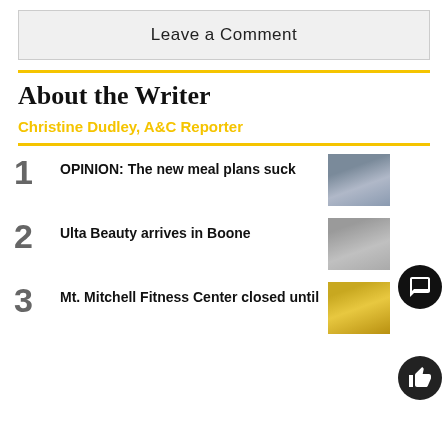Leave a Comment
About the Writer
Christine Dudley, A&C Reporter
1  OPINION: The new meal plans suck
2  Ulta Beauty arrives in Boone
3  Mt. Mitchell Fitness Center closed until